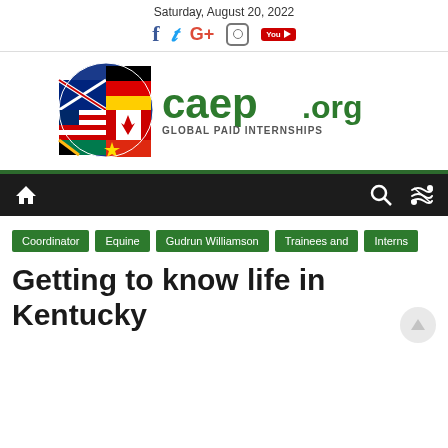Saturday, August 20, 2022
[Figure (logo): CAEP Global Paid Internships logo with globe made of international flags and green text 'caep GLOBAL PAID INTERNSHIPS .org']
Home | Search | Shuffle navigation bar
Coordinator | Equine | Gudrun Williamson | Trainees and Interns
Getting to know life in Kentucky